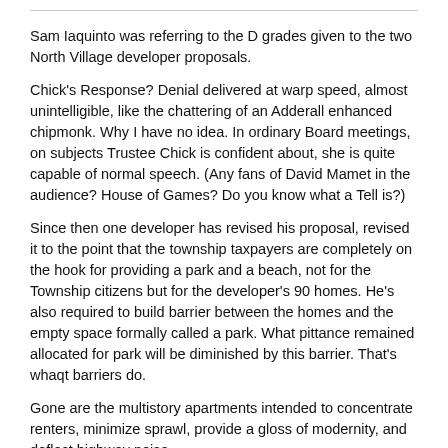Sam Iaquinto was referring to the D grades given to the two North Village developer proposals.
Chick's Response?  Denial delivered at warp speed, almost unintelligible, like the chattering of an Adderall enhanced chipmonk.  Why I have no idea.  In ordinary Board meetings, on subjects Trustee Chick is confident about, she is quite capable of normal speech.  (Any fans of David Mamet in the audience?  House of Games?  Do you know what a Tell is?)
Since then one developer has revised his proposal, revised it to the point that the township taxpayers are completely on the hook for providing a park and a beach, not for the Township citizens but for the developer's 90 homes. He's also required to build barrier between the homes and the empty space formally called a park.  What pittance remained allocated for park will be diminished by this barrier. That's whaqt barriers do.
Gone are the multistory apartments intended to concentrate renters, minimize sprawl, provide a gloss of modernity, and deflect highway noise.
Gone is the Park. Gone are the "amenities."  Gone is the Beach.
Plenty of Fireworks parking, though: 21 whole parking spaces